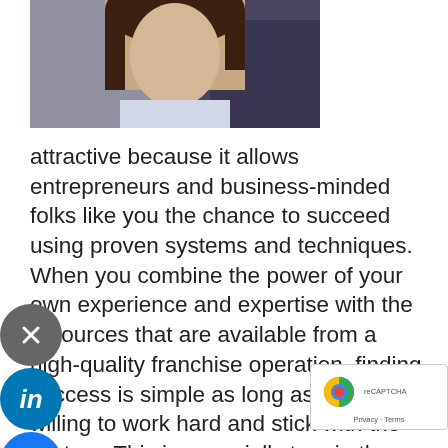[Figure (photo): Photo of a woman with dark hair, cropped from shoulders up, with other people visible in background]
attractive because it allows entrepreneurs and business-minded folks like you the chance to succeed using proven systems and techniques. When you combine the power of your own experience and expertise with the resources that are available from a high-quality franchise operation, finding success is simple as long as you're willing to work hard and stick with the system. This is especially true in the senior-care industry. In home care is one of the fastest-growing franchise sectors, and the market is becoming more and more competitive by the day.

If you're looking for an edge as you select the right senior care franchise for you and your